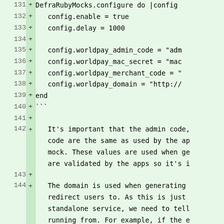[Figure (screenshot): Code diff view showing lines 131-144 of a Ruby configuration file with added lines (marked with +) on a green background. Lines include DefraRubyMocks.configure block with config settings and prose comments about admin code, domain usage, and standalone service configuration.]